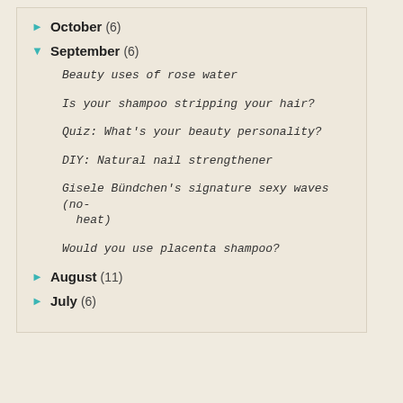October (6)
September (6)
Beauty uses of rose water
Is your shampoo stripping your hair?
Quiz: What's your beauty personality?
DIY: Natural nail strengthener
Gisele Bündchen's signature sexy waves (no-heat)
Would you use placenta shampoo?
August (11)
July (6)